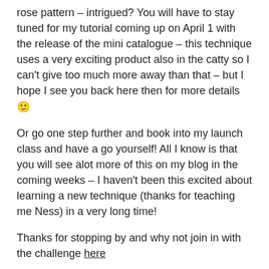rose pattern – intrigued? You will have to stay tuned for my tutorial coming up on April 1 with the release of the mini catalogue – this technique uses a very exciting product also in the catty so I can't give too much more away than that – but I hope I see you back here then for more details 🙂
Or go one step further and book into my launch class and have a go yourself! All I know is that you will see alot more of this on my blog in the coming weeks – I haven't been this excited about learning a new technique (thanks for teaching me Ness) in a very long time!
Thanks for stopping by and why not join in with the challenge here